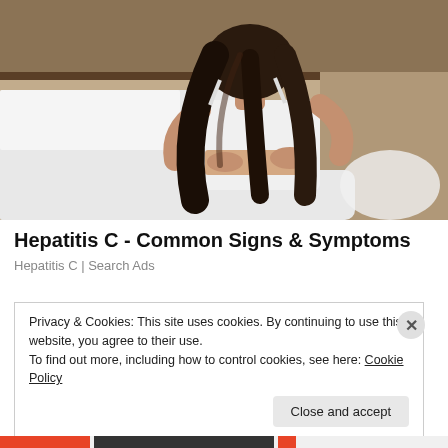[Figure (photo): A woman with long dark hair, seen from behind, sitting on a white bed, wearing a white top, with her hands on her lower back suggesting back or abdominal pain. Bedroom background with wooden headboard.]
Hepatitis C - Common Signs & Symptoms
Hepatitis C | Search Ads
Privacy & Cookies: This site uses cookies. By continuing to use this website, you agree to their use.
To find out more, including how to control cookies, see here: Cookie Policy
Close and accept